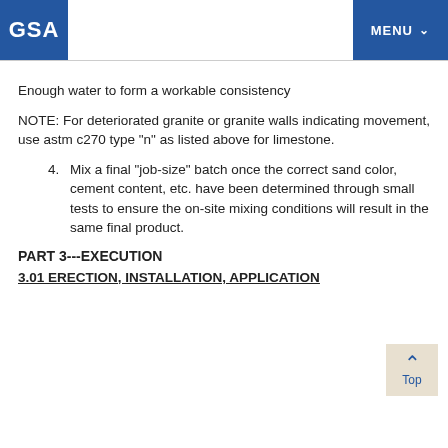GSA  MENU
Enough water to form a workable consistency
NOTE: For deteriorated granite or granite walls indicating movement, use astm c270 type "n" as listed above for limestone.
4. Mix a final "job-size" batch once the correct sand color, cement content, etc. have been determined through small tests to ensure the on-site mixing conditions will result in the same final product.
PART 3---EXECUTION
3.01 ERECTION, INSTALLATION, APPLICATION